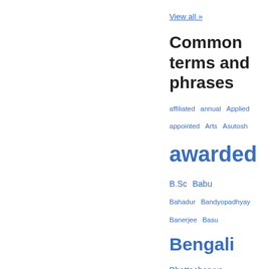View all »
Common terms and phrases
affiliated annual Applied appointed Arts Asutosh awarded B.Sc Babu Bahadur Bandyopadhyay Banerjee Basu Bengali Bhattacharyya Board Bose Botany Calcutta called candidates Chakrabarti Chapters Chatterjee Chemistry classes Committee Composition Course D.Sc Datta